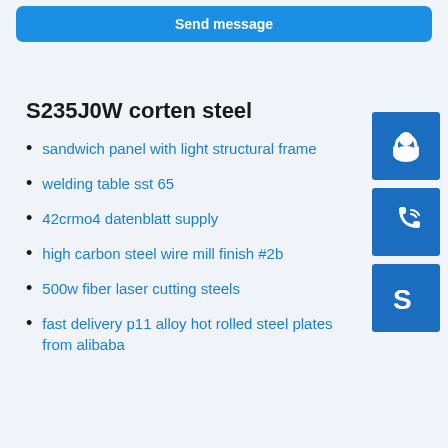[Figure (other): Blue 'Send message' button at top]
[Figure (other): Blue customer support / headset icon button on right sidebar]
[Figure (other): Blue phone/call icon button on right sidebar]
[Figure (other): Blue Skype icon button on right sidebar]
S235J0W corten steel
sandwich panel with light structural frame
welding table sst 65
42crmo4 datenblatt supply
high carbon steel wire mill finish #2b
500w fiber laser cutting steels
fast delivery p11 alloy hot rolled steel plates from alibaba